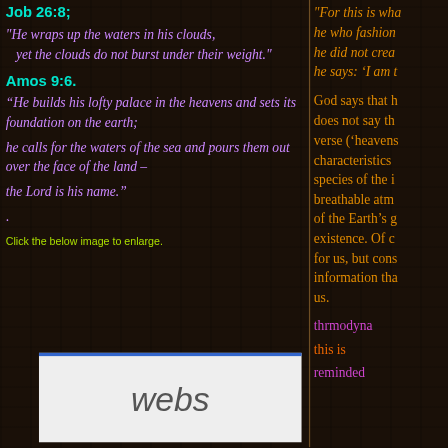Job 26:8;
"He wraps up the waters in his clouds, yet the clouds do not burst under their weight."
Amos 9:6.
“He builds his lofty palace in the heavens and sets its foundation on the earth; he calls for the waters of the sea and pours them out over the face of the land – the Lord is his name.”
.
Click the below image to enlarge.
"For this is wha he who fashion he did not crea he says: ‘I am t
God says that h does not say th verse (‘heavens characteristics species of the i breathable atm of the Earth’s g existence. Of c for us, but cons information tha us.
[Figure (screenshot): Webs website builder logo on light grey background with blue top border]
thrmodyna
this is
reminded